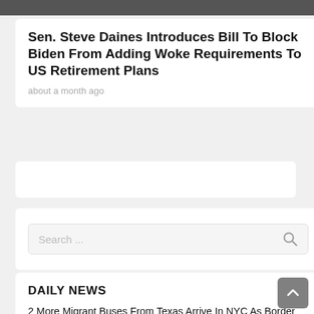[Figure (photo): Partial photo strip at the top of the page showing people]
Sen. Steve Daines Introduces Bill To Block Biden From Adding Woke Requirements To US Retirement Plans
about a month ago
[Figure (other): Advertisement placeholder banner]
Search ...
DAILY NEWS
2 More Migrant Buses From Texas Arrive In NYC As Border Crisis Continues